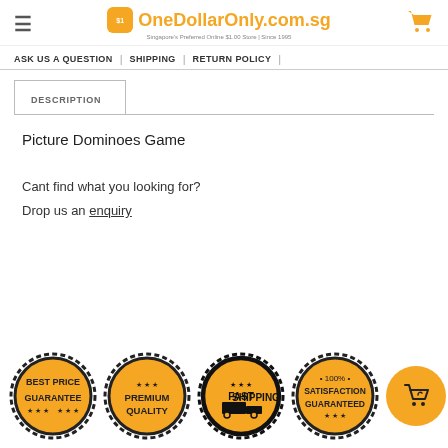OneDollarOnly.com.sg — Singapore's Preferred Online $1.00 Store | Since 1995
ASK US A QUESTION | SHIPPING | RETURN POLICY
DESCRIPTION
Picture Dominoes Game
Cant find what you looking for?
Drop us an enquiry
[Figure (logo): Four badge icons: Best Price Guarantee, Premium Quality, Fast Shipping, 100% Satisfaction Guaranteed; plus a yellow circular cart button]